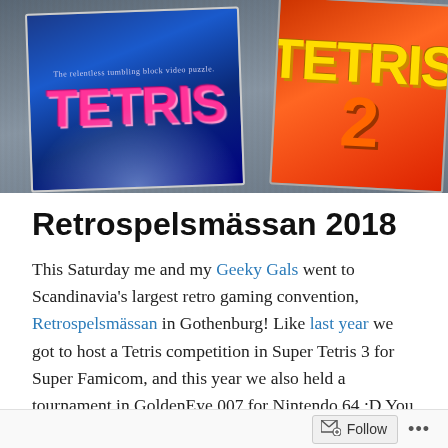[Figure (photo): Photo showing two Tetris game boxes on a wooden surface — one blue box on the left with pink TETRIS logo and light rays, and one red/orange box on the right with yellow TETRIS text and a large orange number.]
Retrospelsmässan 2018
This Saturday me and my Geeky Gals went to Scandinavia's largest retro gaming convention, Retrospelsmässan in Gothenburg! Like last year we got to host a Tetris competition in Super Tetris 3 for Super Famicom, and this year we also held a tournament in GoldenEye 007 for Nintendo 64 :D You can read more about the competitions on Geeky Gals blog, meanwhile here's some pics the convention :)
Follow  •••